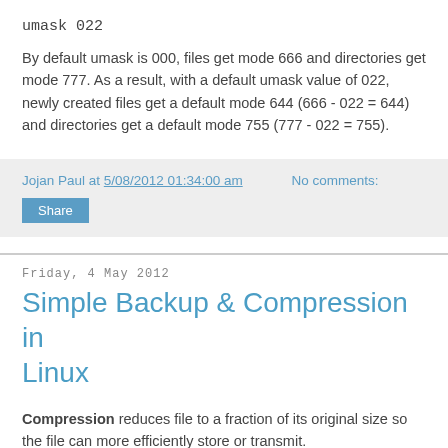umask 022
By default umask is 000, files get mode 666 and directories get mode 777. As a result, with a default umask value of 022, newly created files get a default mode 644 (666 - 022 = 644) and directories get a default mode 755 (777 - 022 = 755).
Jojan Paul at 5/08/2012 01:34:00 am   No comments:
Share
Friday, 4 May 2012
Simple Backup & Compression in Linux
Compression reduces file to a fraction of its original size so the file can more efficiently store or transmit.